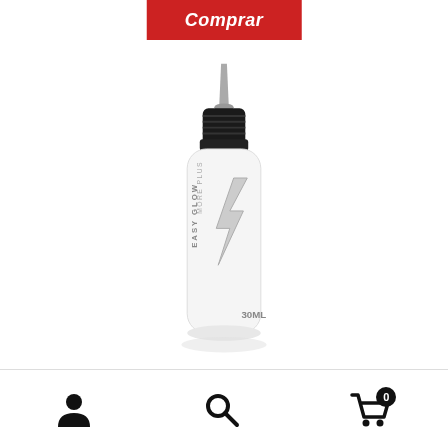Comprar
[Figure (photo): White squeeze bottle of 'Easy Glow' tattoo ink with lightning bolt logo, black cap and pointed tip, 30ml]
[Figure (infographic): Bottom navigation bar with user profile icon, search icon, and shopping cart icon with badge showing 0]